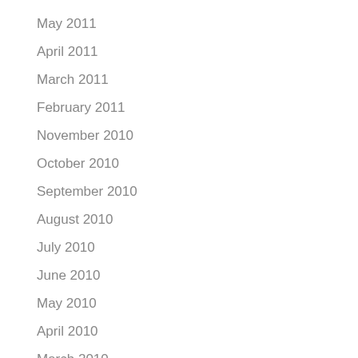May 2011
April 2011
March 2011
February 2011
November 2010
October 2010
September 2010
August 2010
July 2010
June 2010
May 2010
April 2010
March 2010
February 2010
January 2010